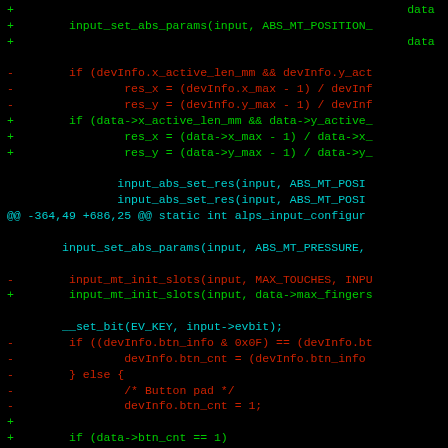[Figure (screenshot): A diff/patch view of C source code on a black terminal background. Lines prefixed with '+' are in green (additions), lines prefixed with '-' are in red (deletions), context lines are in cyan/white, and the @@ hunk header is in cyan.]